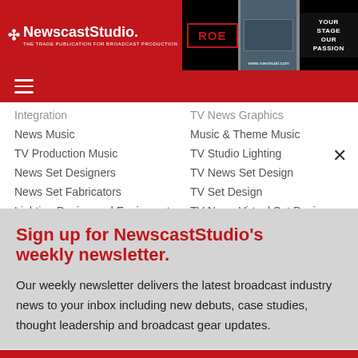NewscastStudio — THE TRADE PUBLICATION FOR BROADCAST PRODUCTION
Integration
News Music
TV Production Music
News Set Designers
News Set Fabricators
Lighting Design and Equipment
Broadcast Graphic Designers
TV News Graphics
Music & Theme Music
TV Studio Lighting
TV News Set Design
TV Set Design
TV News Virtual Set Design
TV News Graphics Design
Sign up for NewscastStudio's weekly newsletter.
Our weekly newsletter delivers the latest broadcast industry news to your inbox including new debuts, case studies, thought leadership and broadcast gear updates.